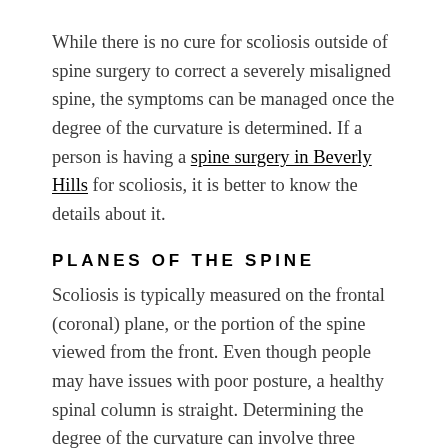While there is no cure for scoliosis outside of spine surgery to correct a severely misaligned spine, the symptoms can be managed once the degree of the curvature is determined. If a person is having a spine surgery in Beverly Hills for scoliosis, it is better to know the details about it.
PLANES OF THE SPINE
Scoliosis is typically measured on the frontal (coronal) plane, or the portion of the spine viewed from the front. Even though people may have issues with poor posture, a healthy spinal column is straight. Determining the degree of the curvature can involve three planes. In addition to the coronal plane, the sagittal (dividing the body into right and left halves)...